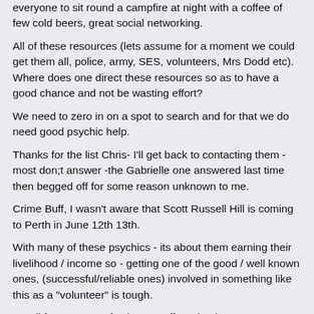everyone to sit round a campfire at night with a coffee of few cold beers, great social networking.
All of these resources (lets assume for a moment we could get them all, police, army, SES, volunteers, Mrs Dodd etc). Where does one direct these resources so as to have a good chance and not be wasting effort?
We need to zero in on a spot to search and for that we do need good psychic help.
Thanks for the list Chris- I'll get back to contacting them - most don;t answer -the Gabrielle one answered last time then begged off for some reason unknown to me.
Crime Buff, I wasn't aware that Scott Russell Hill is coming to Perth in June 12th 13th.
With many of these psychics - its about them earning their livelihood / income so - getting one of the good / well known ones, (successful/reliable ones) involved in something like this as a "volunteer" is tough.
I'm all for any type of volunteer effort - heck I can even legally drive the bus if needed!
I just think we need an area to concentrate on if we are not to waste the